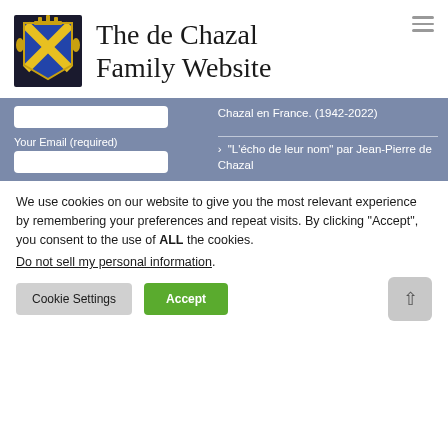[Figure (logo): Coat of arms / heraldic shield with yellow X on blue background with gold decorative elements and crown]
The de Chazal Family Website
Chazal en France. (1942-2022)
"L'écho de leur nom" par Jean-Pierre de Chazal
Your Email (required)
We use cookies on our website to give you the most relevant experience by remembering your preferences and repeat visits. By clicking "Accept", you consent to the use of ALL the cookies.
Do not sell my personal information.